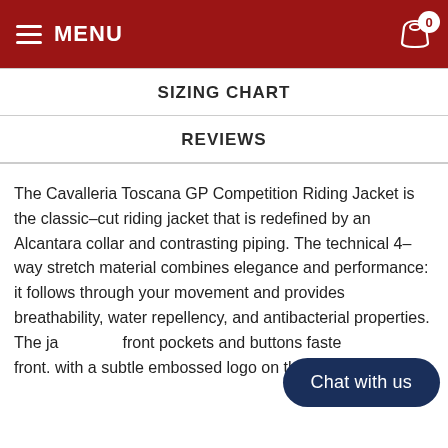MENU  0
SIZING CHART
REVIEWS
The Cavalleria Toscana GP Competition Riding Jacket is the classic-cut riding jacket that is redefined by an Alcantara collar and contrasting piping. The technical 4-way stretch material combines elegance and performance: it follows through your movement and provides breathability, water repellency, and antibacterial properties. The ja... front pockets and buttons fastening on the front. with a subtle embossed logo on the